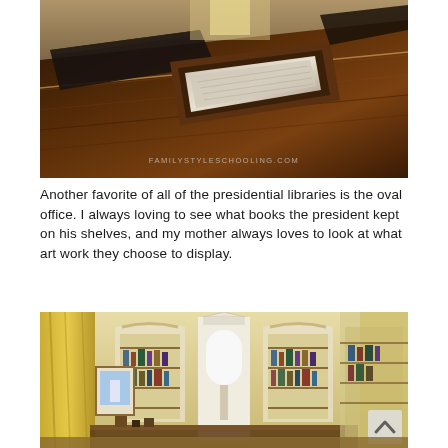[Figure (photo): Close-up photo of a dark wood conference/cabinet table with leather-bound folders and an inset display screen. Watermark text reads FAMILYSTYLESCHOOLING.COM]
Another favorite of all of the presidential libraries is the oval office. I always loving to see what books the president kept on his shelves, and my mother always loves to look at what art work they choose to display.
[Figure (photo): Interior photo of an Oval Office replica at a presidential library, showing yellow curtains, arched windows with fan details, bookshelves, artwork on walls, and a large white lamp. A small arrow/chevron icon is visible in the bottom right corner.]